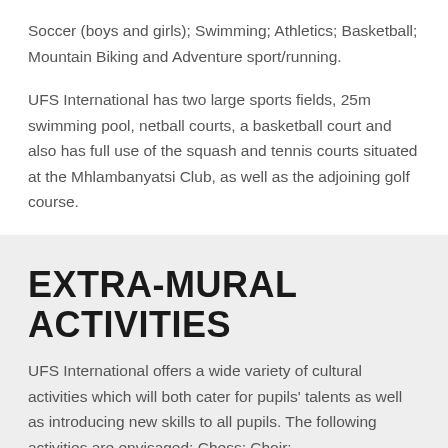Soccer (boys and girls); Swimming; Athletics; Basketball; Mountain Biking and Adventure sport/running.
UFS International has two large sports fields, 25m swimming pool, netball courts, a basketball court and also has full use of the squash and tennis courts situated at the Mhlambanyatsi Club, as well as the adjoining golf course.
EXTRA-MURAL ACTIVITIES
UFS International offers a wide variety of cultural activities which will both cater for pupils' talents as well as introducing new skills to all pupils. The following activities are envisaged: Chess; Choir;